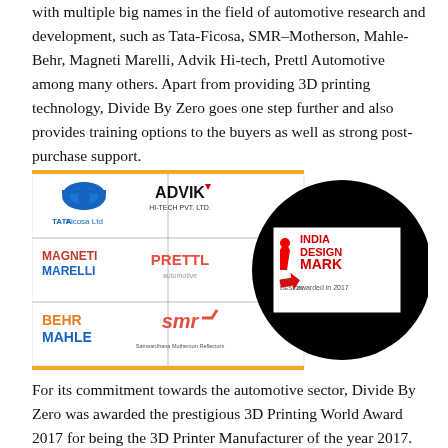with multiple big names in the field of automotive research and development, such as Tata-Ficosa, SMR–Motherson, Mahle-Behr, Magneti Marelli, Advik Hi-tech, Prettl Automotive among many others. Apart from providing 3D printing technology, Divide By Zero goes one step further and also provides training options to the buyers as well as strong post-purchase support.
[Figure (logo): A collage of partner company logos (Tata Ficosa Ltd, Advik Hi-Tech Pvt. Ltd., Magneti Marelli, Prettl Automotive, Behr Mahle, SMR Samaardhana Motherson Reflectors) alongside an India Design Mark — Good Design — awarded in 2017 badge on a black circular background.]
For its commitment towards the automotive sector, Divide By Zero was awarded the prestigious 3D Printing World Award 2017 for being the 3D Printer Manufacturer of the year 2017.